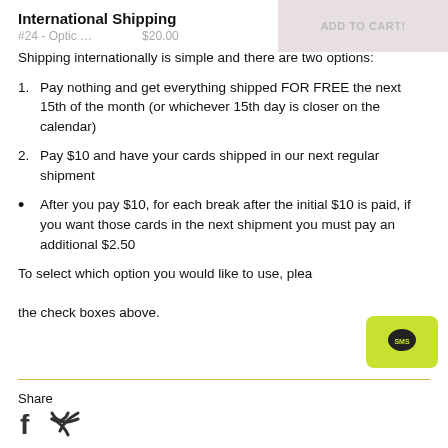International Shipping
#24 - Optic ...   $20.00   ADD TO CART!
Shipping internationally is simple and there are two options:
Pay nothing and get everything shipped FOR FREE the next 15th of the month (or whichever 15th day is closer on the calendar)
Pay $10 and have your cards shipped in our next regular shipment
After you pay $10, for each break after the initial $10 is paid, if you want those cards in the next shipment you must pay an additional $2.50
To select which option you would like to use, please use the check boxes above.
Share